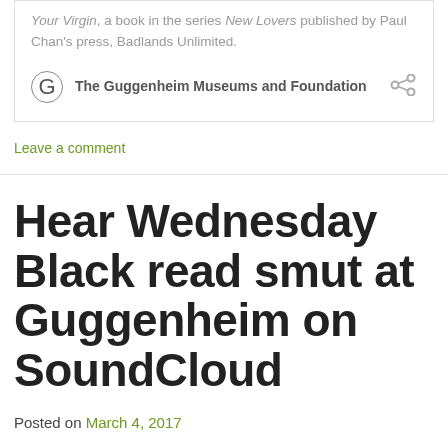Your Virgin, a book in the series New Lovers published by Paul Chan's press, Badlands Unlimited.
The Guggenheim Museums and Foundation
Leave a comment
Hear Wednesday Black read smut at Guggenheim on SoundCloud
Posted on March 4, 2017